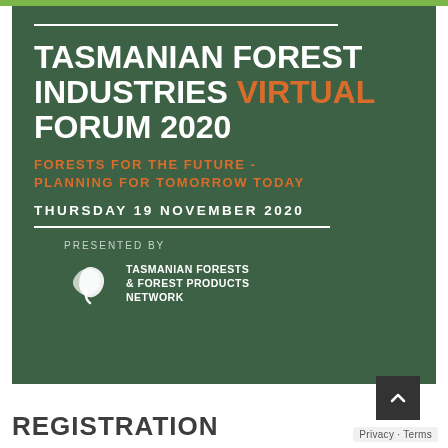[Figure (infographic): Dark green promotional banner for the Tasmanian Forest Industries Virtual Forum 2020. Contains the event title in bold white and orange uppercase text, subtitle 'FORESTS FOR THE FUTURE - PLANNING FOR TOMORROW TODAY' in orange, date 'THURSDAY 19 NOVEMBER 2020' in white, and the Tasmanian Forests & Forest Products Network logo.]
REGISTRATION